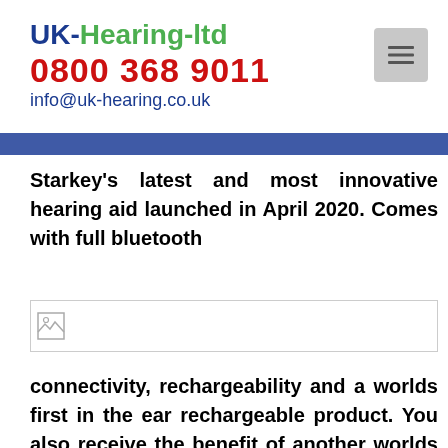UK-Hearing-ltd
0800 368 9011
info@uk-hearing.co.uk
Starkey's latest and most innovative hearing aid launched in April 2020. Comes with full bluetooth
[Figure (photo): Broken image placeholder]
connectivity, rechargeability and a worlds first in the ear rechargeable product. You also receive the benefit of another worlds first 'Artificial Technology' feature